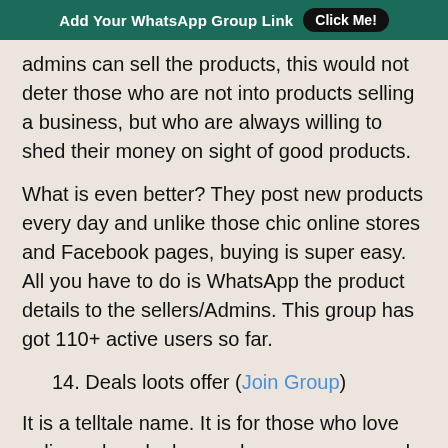Add Your WhatsApp Group Link  Click Me!
admins can sell the products, this would not deter those who are not into products selling a business, but who are always willing to shed their money on sight of good products.
What is even better? They post new products every day and unlike those chic online stores and Facebook pages, buying is super easy. All you have to do is WhatsApp the product details to the sellers/Admins. This group has got 110+ active users so far.
14. Deals loots offer (Join Group)
It is a telltale name. It is for those who love online sales, deals, vouchers, coupons, and discounts. People who love fancy products and who are willing to buy